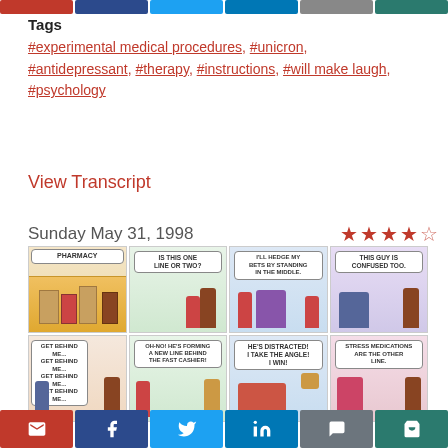[Social share buttons row - top]
Tags
#experimental medical procedures, #unicron, #antidepressant, #therapy, #instructions, #will make laugh, #psychology
View Transcript
Sunday May 31, 1998
[Figure (illustration): Dilbert comic strip from Sunday May 31, 1998 with 8 panels showing characters in a pharmacy line scenario, rated 4 out of 5 stars]
[Social share buttons row - bottom]